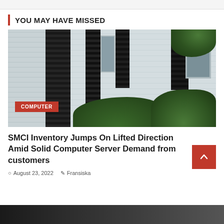YOU MAY HAVE MISSED
[Figure (photo): Photo of a building exterior with white horizontal siding, dark louvered shutters, windows, and green shrubbery in the foreground. A red 'COMPUTER' category badge overlays the bottom-left of the image.]
SMCI Inventory Jumps On Lifted Direction Amid Solid Computer Server Demand from customers
August 23, 2022  Fransiska
[Figure (photo): Partial view of a dark-toned photograph at the bottom of the page, cut off.]